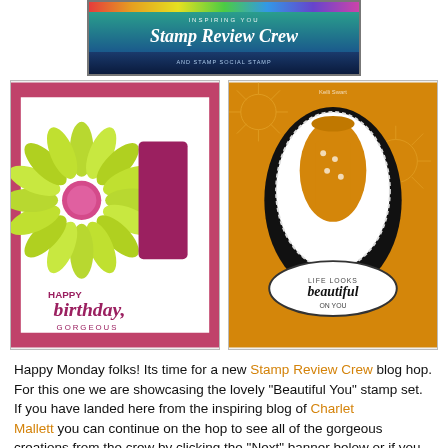[Figure (logo): Stamp Review Crew banner logo with rainbow gradient background and script text]
[Figure (photo): Two handmade greeting cards: left card features a lime green daisy flower with 'Happy Birthday Gorgeous' text and a woman in purple dress; right card features a woman in yellow polka-dot dress on orange dandelion background with oval frame and 'Life Looks Beautiful On You' text]
Happy Monday folks! Its time for a new Stamp Review Crew blog hop. For this one we are showcasing the lovely "Beautiful You" stamp set.
If you have landed here from the inspiring blog of Charlet Mallett you can continue on the hop to see all of the gorgeous creations from the crew by clicking the "Next" banner below or if you want to start at the top you can click